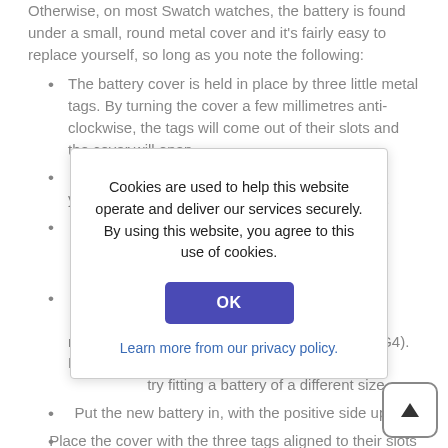Otherwise, on most Swatch watches, the battery is found under a small, round metal cover and it's fairly easy to replace yourself, so long as you note the following:
The battery cover is held in place by three little metal tags. By turning the cover a few millimetres anti-clockwise, the tags will come out of their slots and the cover will open.
[partially obscured] but if y... prevent
[partially obscured] don't ... eezers. ... r side
[partially obscured] 377, ... other manufacturer's equivalent, such as SR626 or AG4). Don't try fitting a battery of a different size.
Put the new battery in, with the positive side up.
Place the cover with the three tags aligned to their slots and turn clockwise a millimetre or so until they're locked.
[Figure (other): Cookie consent modal dialog with text: 'Cookies are used to help this website operate and deliver our services securely. By using this website, you agree to this use of cookies.' with an OK button and a 'Learn more from our privacy policy.' link.]